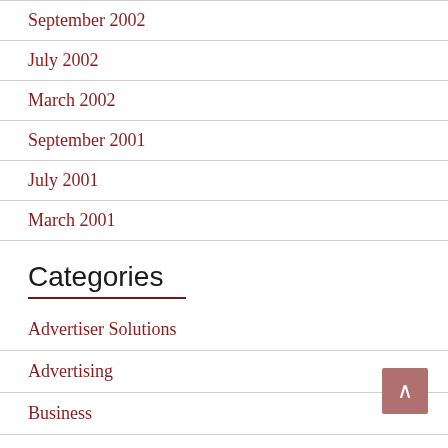September 2002
July 2002
March 2002
September 2001
July 2001
March 2001
Categories
Advertiser Solutions
Advertising
Business
Business to Business